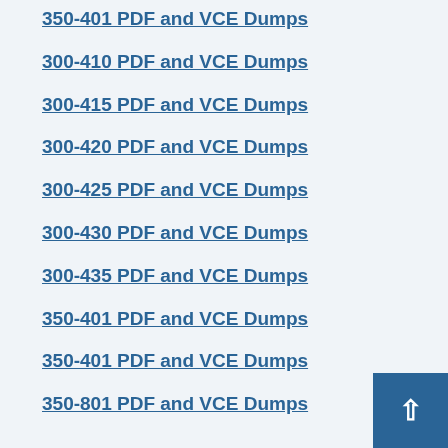350-401 PDF and VCE Dumps
300-410 PDF and VCE Dumps
300-415 PDF and VCE Dumps
300-420 PDF and VCE Dumps
300-425 PDF and VCE Dumps
300-430 PDF and VCE Dumps
300-435 PDF and VCE Dumps
350-401 PDF and VCE Dumps
350-401 PDF and VCE Dumps
350-801 PDF and VCE Dumps